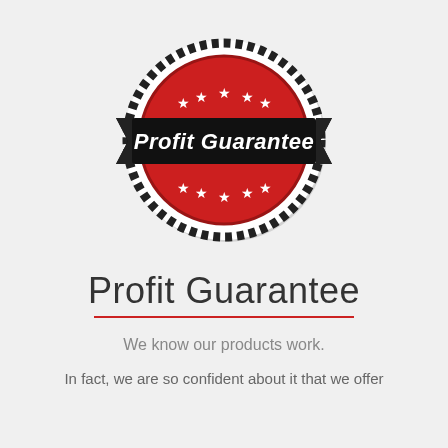[Figure (logo): Circular red badge/seal with rope border, black ribbon banner across the middle reading 'Profit Guarantee' in white bold italic text, five white stars above the banner and five white stars below the banner on the red background.]
Profit Guarantee
We know our products work.
In fact, we are so confident about it that we offer